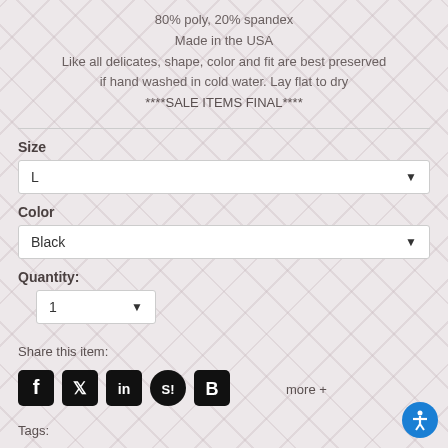80% poly, 20% spandex
Made in the USA
Like all delicates, shape, color and fit are best preserved if hand washed in cold water. Lay flat to dry
****SALE ITEMS FINAL****
Size
L
Color
Black
Quantity:
1
Share this item:
[Figure (infographic): Social media icons: Facebook, Twitter, LinkedIn, StumbleUpon, Blogger]
more +
Tags: